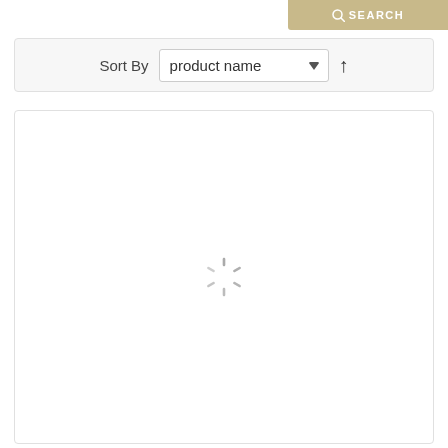[Figure (screenshot): Search button with magnifying glass icon on tan/gold background, showing partial UI element in top-right corner]
Sort By  product name
[Figure (other): Loading spinner (circular dashed loading indicator) centered in a white panel area]